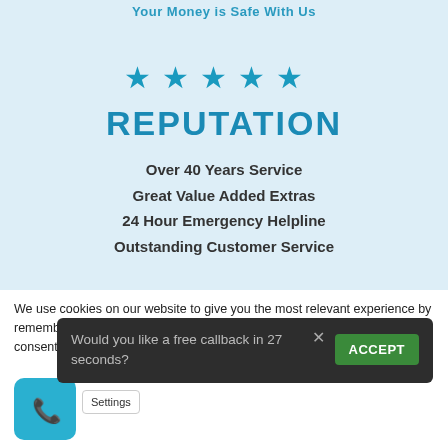Your Money is Safe With Us
[Figure (illustration): Five blue star icons in a row representing a 5-star rating]
REPUTATION
Over 40 Years Service
Great Value Added Extras
24 Hour Emergency Helpline
Outstanding Customer Service
We use cookies on our website to give you the most relevant experience by remembering your preferences and repeat visits. By clicking “Accept”, you consent to the use of these the cookies.
Would you like a free callback in 27 seconds?
ACCEPT